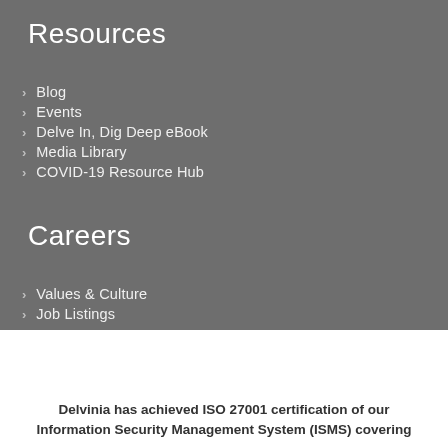Resources
Blog
Events
Delve In, Dig Deep eBook
Media Library
COVID-19 Resource Hub
Careers
Values & Culture
Job Listings
Delvinia has achieved ISO 27001 certification of our Information Security Management System (ISMS) covering